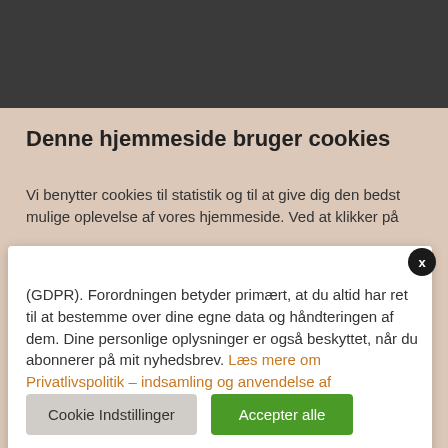[Figure (screenshot): Dark gray header bar at top of page]
Denne hjemmeside bruger cookies
Vi benytter cookies til statistik og til at give dig den bedst mulige oplevelse af vores hjemmeside. Ved at klikke på
[Figure (screenshot): White modal overlay box covering middle section of page]
(GDPR). Forordningen betyder primært, at du altid har ret til at bestemme over dine egne data og håndteringen af dem. Dine personlige oplysninger er også beskyttet, når du abonnerer på mit nyhedsbrev. Læs mere om Privatlivspolitik – indsamling og anvendelse af personoplysninger her
Cookie Indstillinger
Accepter alle